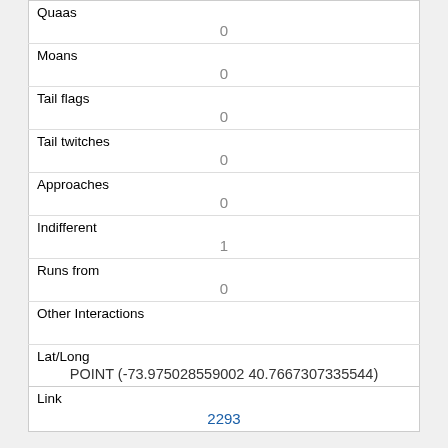| Quaas | 0 |
| Moans | 0 |
| Tail flags | 0 |
| Tail twitches | 0 |
| Approaches | 0 |
| Indifferent | 1 |
| Runs from | 0 |
| Other Interactions |  |
| Lat/Long | POINT (-73.975028559002 40.7667307335544) |
| Link | 2293 |